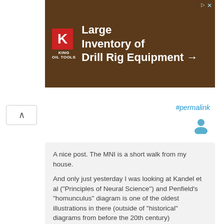[Figure (screenshot): King Oil Tools advertisement banner: Large Inventory of Drill Rig Equipment →]
#permalink
[Figure (illustration): Generic user avatar icon (blue silhouette)]
A nice post. The MNI is a short walk from my house.

And only just yesterday I was looking at Kandel et al ("Principles of Neural Science") and Penfield's "homunculus" diagram is one of the oldest illustrations in there (outside of "historical" diagrams from before the 20th century)

And I wondered out loud if someone is planning on doing this work over again, with the improved equipment and techniques we have now.

Log in to post comments